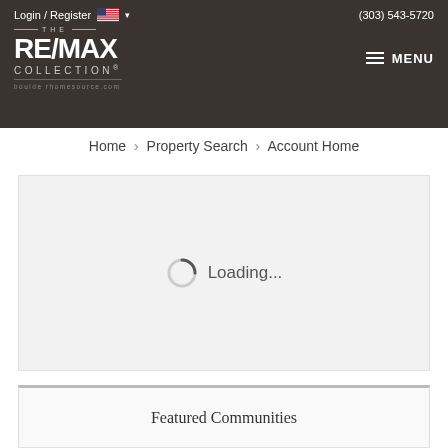Login / Register | (303) 543-5720 | RE/MAX COLLECTION | boulderHomesource.com | MENU
Home > Property Search > Account Home
[Figure (screenshot): Loading spinner with text 'Loading...' inside a light gray box]
Featured Communities